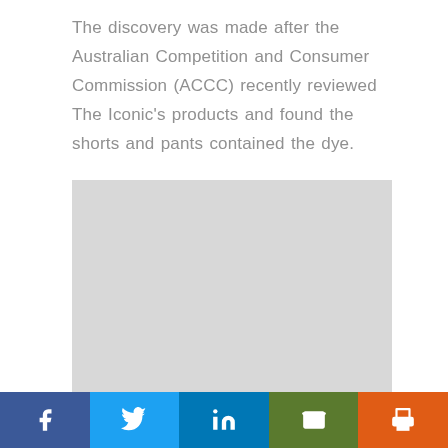The discovery was made after the Australian Competition and Consumer Commission (ACCC) recently reviewed The Iconic's products and found the shorts and pants contained the dye.
[Figure (photo): A light grey placeholder image block]
Social share bar with Facebook, Twitter, LinkedIn, Email, and Print buttons